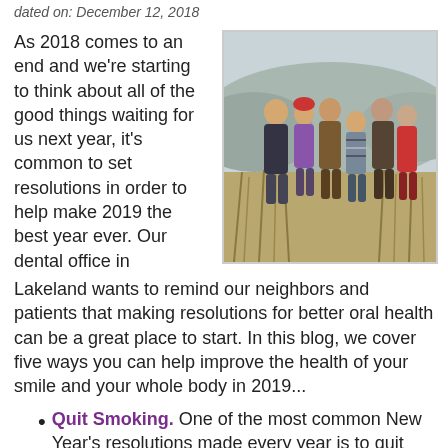dated on: December 12, 2018
As 2018 comes to an end and we're starting to think about all of the good things waiting for us next year, it's common to set resolutions in order to help make 2019 the best year ever. Our dental office in Lakeland wants to remind our neighbors and patients that making resolutions for better oral health can be a great place to start. In this blog, we cover five ways you can help improve the health of your smile and your whole body in 2019...
[Figure (photo): A multi-generational family of six posing together outdoors in a field of tall grass, smiling at the camera, with mountains visible in the background.]
Quit Smoking. One of the most common New Year's resolutions made every year is to quit smoking. Smoking, or using any product containing nicotine, is a dangerous habit that's highly addictive, which makes it really difficult to quit. But we know you can do it. Quitting smoking can reduce your risk for heart